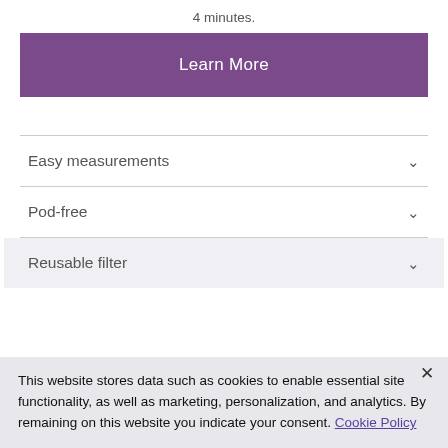4 minutes.
Learn More
Easy measurements
Pod-free
Reusable filter
This website stores data such as cookies to enable essential site functionality, as well as marketing, personalization, and analytics. By remaining on this website you indicate your consent. Cookie Policy